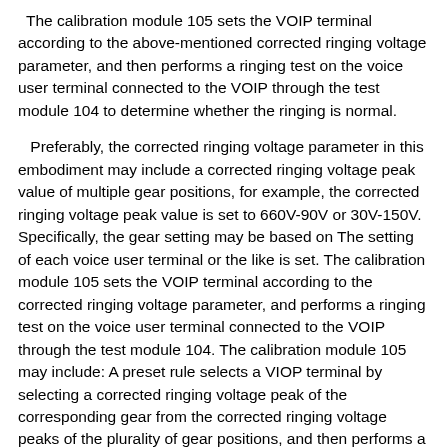The calibration module 105 sets the VOIP terminal according to the above-mentioned corrected ringing voltage parameter, and then performs a ringing test on the voice user terminal connected to the VOIP through the test module 104 to determine whether the ringing is normal.
Preferably, the corrected ringing voltage parameter in this embodiment may include a corrected ringing voltage peak value of multiple gear positions, for example, the corrected ringing voltage peak value is set to 660V-90V or 30V-150V. Specifically, the gear setting may be based on The setting of each voice user terminal or the like is set. The calibration module 105 sets the VOIP terminal according to the corrected ringing voltage parameter, and performs a ringing test on the voice user terminal connected to the VOIP through the test module 104. The calibration module 105 may include: A preset rule selects a VIOP terminal by selecting a corrected ringing voltage peak of the corresponding gear from the corrected ringing voltage peaks of the plurality of gear positions, and then performs a ringing test on the voice user terminal connected to the VOIP through the test module 104, The peak value of the corrected ringing voltage until the test result is normal or